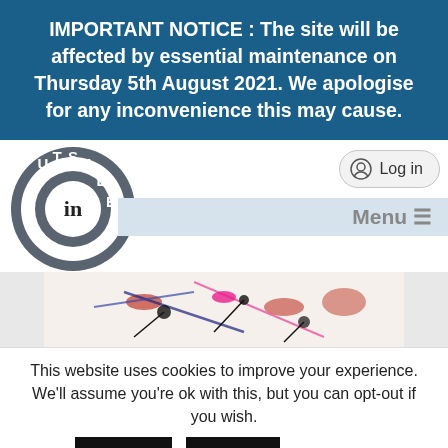IMPORTANT NOTICE : The site will be affected by essential maintenance on Thursday 5th August 2021. We apologise for any inconvenience this may cause.
[Figure (logo): Outside In circular logo with letters O, U, T, S, I, D, E arranged around a circle with 'in' in the centre and a star at the bottom]
Log in
Menu ≡
[Figure (photo): Colourful abstract artwork with paint splatters and lines in red, blue, pink and black on white background]
This website uses cookies to improve your experience. We'll assume you're ok with this, but you can opt-out if you wish.
Accept
Reject
Read More